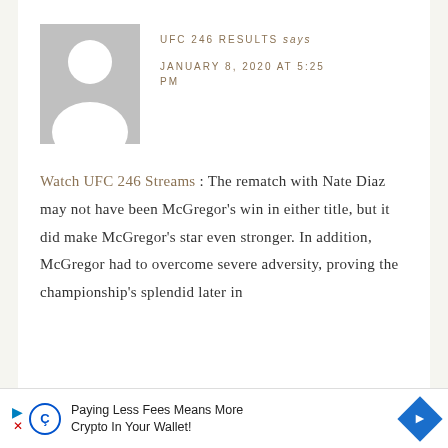[Figure (illustration): Generic user avatar placeholder: grey rectangle with white silhouette of a person (circle head, rounded shoulders)]
UFC 246 RESULTS says
JANUARY 8, 2020 AT 5:25 PM
Watch UFC 246 Streams : The rematch with Nate Diaz may not have been McGregor's win in either title, but it did make McGregor's star even stronger. In addition, McGregor had to overcome severe adversity, proving the championship's splendid later in
[Figure (infographic): Advertisement banner: Paying Less Fees Means More Crypto In Your Wallet! with Coinbase-style logo and blue diamond arrow icon]